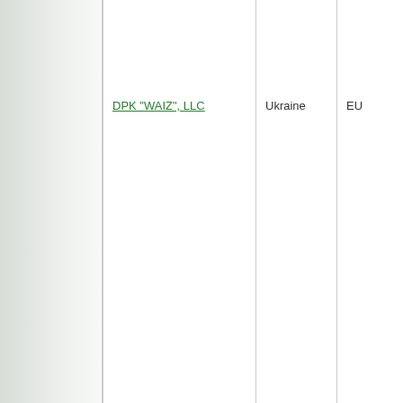| DPK "WAIZ", LLC | Ukraine | EU |